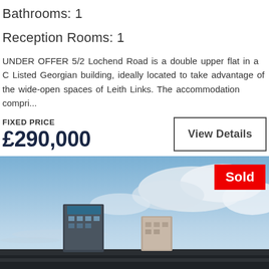Bathrooms: 1
Reception Rooms: 1
UNDER OFFER 5/2 Lochend Road is a double upper flat in a C Listed Georgian building, ideally located to take advantage of the wide-open spaces of Leith Links. The accommodation compri...
FIXED PRICE
£290,000
View Details
[Figure (photo): Exterior photo of a modern building under a cloudy sky with a red 'Sold' badge overlaid in the top-right corner.]